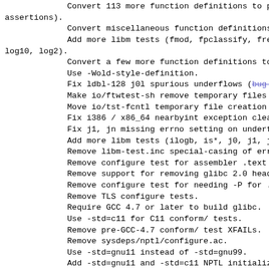Convert 113 more function definitions to proto assertions).
Convert miscellaneous function definitions to
Add more libm tests (fmod, fpclassify, frexp, log10, log2).
Convert a few more function definitions to pro
Use -Wold-style-definition.
Fix ldbl-128 j0l spurious underflows (bug 1915
Make io/ftwtest-sh remove temporary files on e
Move io/tst-fcntl temporary file creation to d
Fix i386 / x86_64 nearbyint exception clearing
Fix j1, jn missing errno setting on underflow
Add more libm tests (ilogb, is*, j0, j1, jn, 1
Remove libm-test.inc special-casing of errors
Remove configure test for assembler .text dire
Remove support for removing glibc 2.0 headers.
Remove configure test for needing -P for .S fi
Remove TLS configure tests.
Require GCC 4.7 or later to build glibc.
Use -std=c11 for C11 conform/ tests.
Remove pre-GCC-4.7 conform/ test XFAILs.
Remove sysdeps/nptl/configure.ac.
Use -std=gnu11 instead of -std=gnu99.
Add -std=gnu11 and -std=c11 NPTL initializers
Remove GCC version conditionals on -Wmaybe-uni
Remove MIPS16 atomics using __sync_* (bug 1740
Remove configure test for ARM TLS descriptors
Remove -mavx2 configure tests.
Use C11 *_DECIMAL_DIG macros in libm-test.inc.
Fix i386/x86 64 fesetenv SSE exception cleari